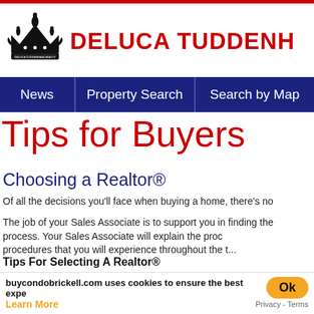[Figure (logo): DeLuca Tuddenham Realty crown logo with black heraldic crown illustration and red brand name text 'DELUCA TUDDENH...']
News | Property Search | Search by Map
Tips for Buyers
Choosing a Realtor®
Of all the decisions you'll face when buying a home, there's no...
The job of your Sales Associate is to support you in finding the... process. Your Sales Associate will explain the proc... procedures that you will experience throughout the t...
Tips For Selecting A Realtor®
buycondobrickell.com uses cookies to ensure the best expe...